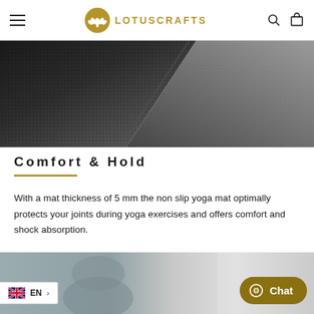LOTUSCRAFTS — Navigation header with hamburger menu, logo, search and cart icons
[Figure (photo): Close-up of dark textured yoga mat surface, showing the non-slip texture and diagonal composition with dark grey and charcoal tones]
Comfort & Hold
With a mat thickness of 5 mm the non slip yoga mat optimally protects your joints during yoga exercises and offers comfort and shock absorption.
[Figure (photo): Bottom strip showing a person in yoga pose wearing grey activewear]
EN language selector and Chat button